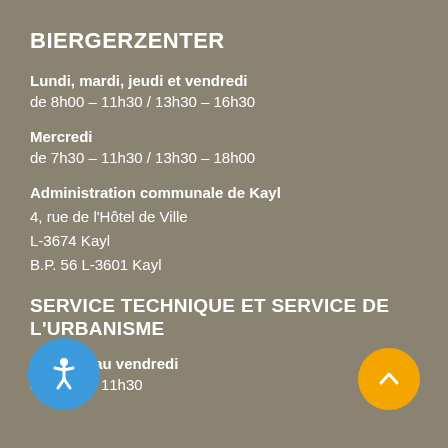BIERGERZENTER
Lundi, mardi, jeudi et vendredi
de 8h00 – 11h30 / 13h30 – 16h30
Mercredi
de 7h30 – 11h30 / 13h30 – 18h00
Administration communale de Kayl
4, rue de l'Hôtel de Ville
L-3674 Kayl
B.P. 56 L-3601 Kayl
SERVICE TECHNIQUE ET SERVICE DE L'URBANISME
Du lundi au vendredi
de 8h00 – 11h30